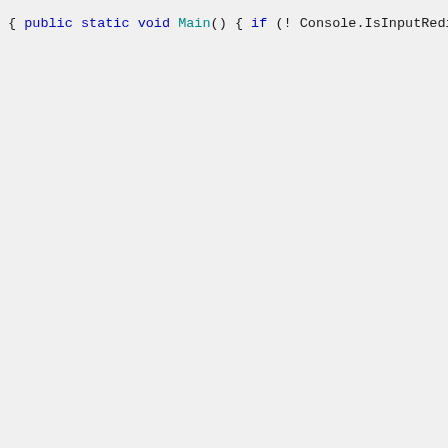[Figure (screenshot): Code snippet in C# showing a static Main() method with Console.ReadLine() loop and comment showing example output. Syntax-highlighted in monospace font on light grey background.]